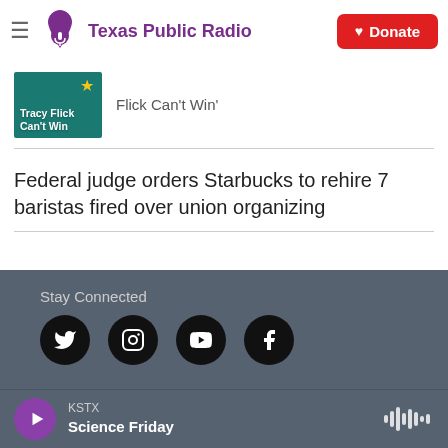Texas Public Radio | Donate
[Figure (screenshot): Tracy Flick Can't Win book/movie cover thumbnail with teal background]
Flick Can't Win'
Federal judge orders Starbucks to rehire 7 baristas fired over union organizing
Stay Connected
[Figure (infographic): Social media icons: Twitter, Instagram, YouTube, Facebook in black circles]
KSTX Science Friday